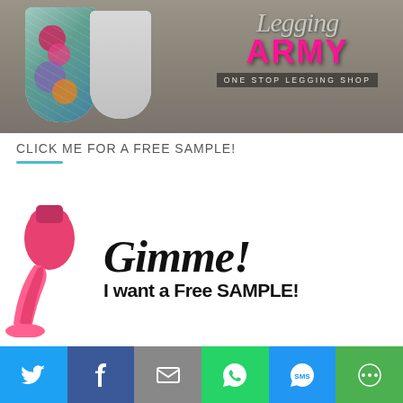[Figure (photo): Legging Army promotional banner showing colorful patterned leggings against a rustic wood background. Logo reads 'Legging ARMY - ONE STOP LEGGING SHOP' in pink and white text.]
CLICK ME FOR A FREE SAMPLE!
[Figure (photo): Promotional image showing an overflowing pink nail polish bottle with bold text reading 'Gimme! I want a Free SAMPLE!']
[Figure (infographic): Social sharing bar with buttons for Twitter, Facebook, Email, WhatsApp, SMS, and More.]